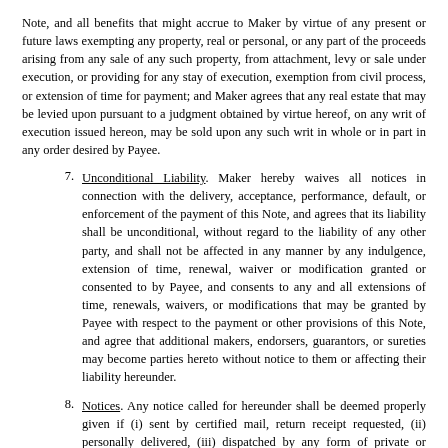Note, and all benefits that might accrue to Maker by virtue of any present or future laws exempting any property, real or personal, or any part of the proceeds arising from any sale of any such property, from attachment, levy or sale under execution, or providing for any stay of execution, exemption from civil process, or extension of time for payment; and Maker agrees that any real estate that may be levied upon pursuant to a judgment obtained by virtue hereof, on any writ of execution issued hereon, may be sold upon any such writ in whole or in part in any order desired by Payee.
7. Unconditional Liability. Maker hereby waives all notices in connection with the delivery, acceptance, performance, default, or enforcement of the payment of this Note, and agrees that its liability shall be unconditional, without regard to the liability of any other party, and shall not be affected in any manner by any indulgence, extension of time, renewal, waiver or modification granted or consented to by Payee, and consents to any and all extensions of time, renewals, waivers, or modifications that may be granted by Payee with respect to the payment or other provisions of this Note, and agree that additional makers, endorsers, guarantors, or sureties may become parties hereto without notice to them or affecting their liability hereunder.
8. Notices. Any notice called for hereunder shall be deemed properly given if (i) sent by certified mail, return receipt requested, (ii) personally delivered, (iii) dispatched by any form of private or governmental express mail or delivery service providing receipted delivery, (iv) sent by telefacsimile or (v) sent by e-mail, to the following addresses or to such other address as either party may designate by notice in accordance with this Section: